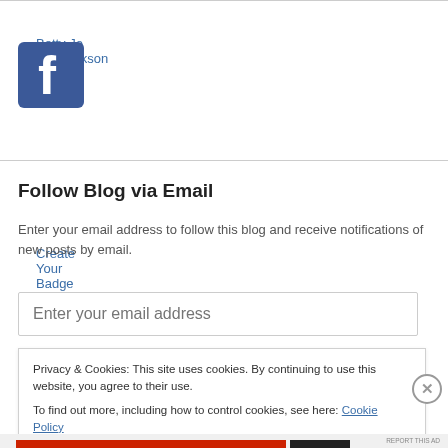Betty Jo Hendrickson
[Figure (logo): Facebook logo icon — blue square with white 'f' letter]
Create Your Badge
Follow Blog via Email
Enter your email address to follow this blog and receive notifications of new posts by email.
Enter your email address
Privacy & Cookies: This site uses cookies. By continuing to use this website, you agree to their use.
To find out more, including how to control cookies, see here: Cookie Policy
Close and accept